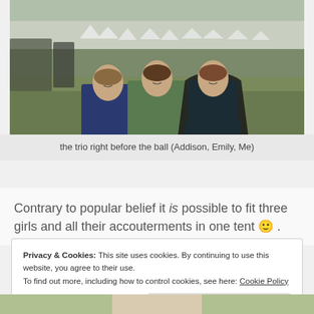[Figure (photo): Three young women in period Civil War era costumes (long dresses and cloaks) standing in a field with white tents in the background at dusk.]
the trio right before the ball (Addison, Emily, Me)
Contrary to popular belief it is possible to fit three girls and all their accouterments in one tent 🙂 .
Privacy & Cookies: This site uses cookies. By continuing to use this website, you agree to their use.
To find out more, including how to control cookies, see here: Cookie Policy
Close and accept
[Figure (photo): Partial view of another photo at the bottom of the page.]